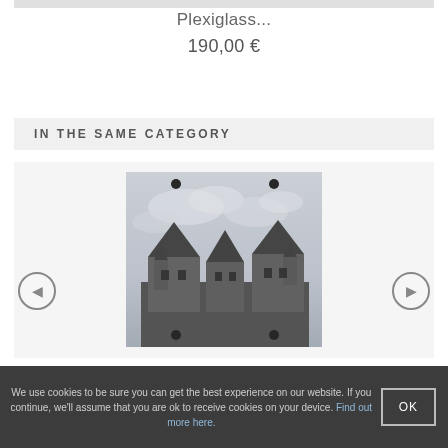Plexiglass...
190,00 €
IN THE SAME CATEGORY
[Figure (photo): Black and white photo print mounted on plexiglass showing historic building rooftops with pointed turrets against a cloudy sky, displayed as a plexiglass print with visible mounting screws]
We use cookies to be sure you can get the best experience on our website. If you continue, we'll assume that you are ok to receive cookies on your device. Find out more here.